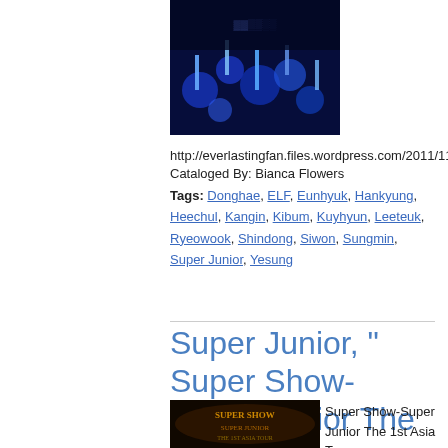[Figure (photo): A dark blue concert photo with light sticks]
http://everlastingfan.files.wordpress.com/2011/11/blu
Cataloged By: Bianca Flowers
Tags: Donghae, ELF, Eunhyuk, Hankyung, Heechul, Kangin, Kibum, Kuyhyun, Leeteuk, Ryeowook, Shindong, Siwon, Sungmin, Super Junior, Yesung
Super Junior, " Super Show-Super Junior The 1st Asia Tour Concert" (2008)
[Figure (photo): Super Show concert logo image]
Super Show-Super Junior The 1st Asia Tour